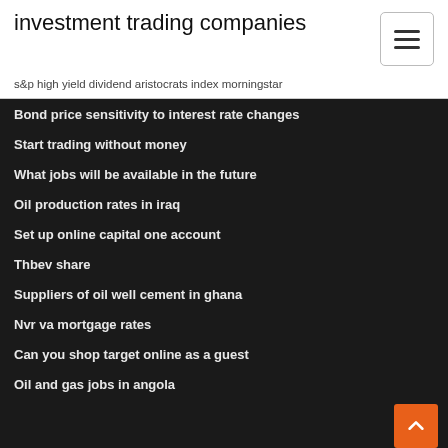investment trading companies
s&p high yield dividend aristocrats index morningstar
Bond price sensitivity to interest rate changes
Start trading without money
What jobs will be available in the future
Oil production rates in iraq
Set up online capital one account
Thbev share
Suppliers of oil well cement in ghana
Nvr va mortgage rates
Can you shop target online as a guest
Oil and gas jobs in angola